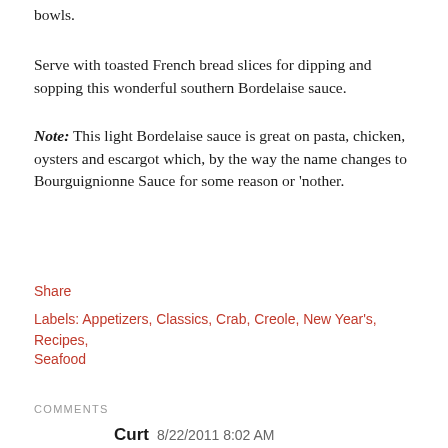bowls.
Serve with toasted French bread slices for dipping and sopping this wonderful southern Bordelaise sauce.
Note: This light Bordelaise sauce is great on pasta, chicken, oysters and escargot which, by the way the name changes to Bourguignionne Sauce for some reason or 'nother.
Share
Labels: Appetizers, Classics, Crab, Creole, New Year's, Recipes, Seafood
COMMENTS
Curt  8/22/2011 8:02 AM